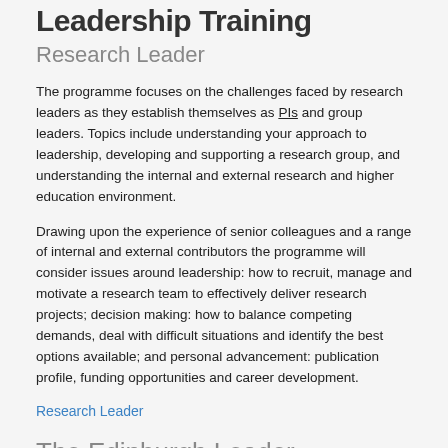Leadership Training
Research Leader
The programme focuses on the challenges faced by research leaders as they establish themselves as PIs and group leaders. Topics include understanding your approach to leadership, developing and supporting a research group, and understanding the internal and external research and higher education environment.
Drawing upon the experience of senior colleagues and a range of internal and external contributors the programme will consider issues around leadership: how to recruit, manage and motivate a research team to effectively deliver research projects; decision making: how to balance competing demands, deal with difficult situations and identify the best options available; and personal advancement: publication profile, funding opportunities and career development.
Research Leader
The Edinburgh Leader
The Edinburgh Leader provides a framework to develop the skills, knowledge and self-awareness required of a strategic leader. It also